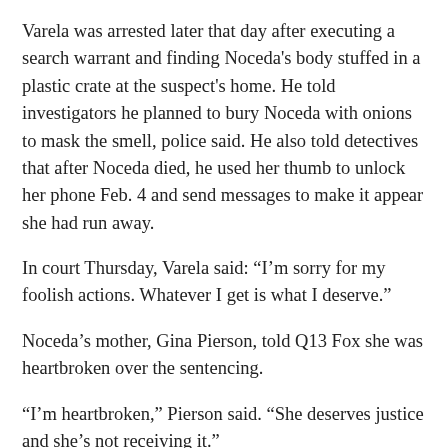Varela was arrested later that day after executing a search warrant and finding Noceda's body stuffed in a plastic crate at the suspect's home. He told investigators he planned to bury Noceda with onions to mask the smell, police said. He also told detectives that after Noceda died, he used her thumb to unlock her phone Feb. 4 and send messages to make it appear she had run away.
In court Thursday, Varela said: “I’m sorry for my foolish actions. Whatever I get is what I deserve.”
Noceda’s mother, Gina Pierson, told Q13 Fox she was heartbroken over the sentencing.
“I’m heartbroken,” Pierson said. “She deserves justice and she’s not receiving it.”